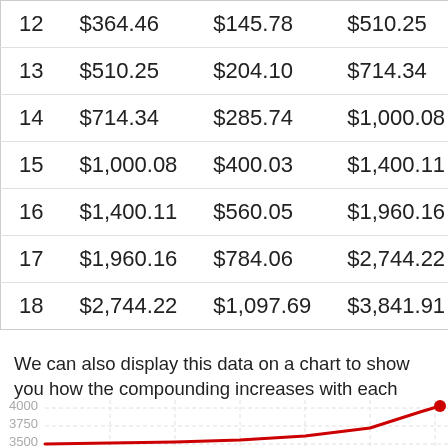| Period | Principal | Interest | Total |
| --- | --- | --- | --- |
| 12 | $364.46 | $145.78 | $510.25 |
| 13 | $510.25 | $204.10 | $714.34 |
| 14 | $714.34 | $285.74 | $1,000.08 |
| 15 | $1,000.08 | $400.03 | $1,400.11 |
| 16 | $1,400.11 | $560.05 | $1,960.16 |
| 17 | $1,960.16 | $784.06 | $2,744.22 |
| 18 | $2,744.22 | $1,097.69 | $3,841.91 |
We can also display this data on a chart to show you how the compounding increases with each compounding period.
[Figure (line-chart): Partial line chart showing compounding growth, y-axis labels 3500, 3750, 4000 visible, red line rising sharply at right edge]